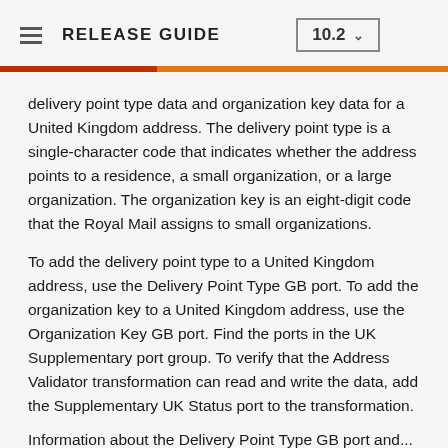RELEASE GUIDE 10.2
delivery point type data and organization key data for a United Kingdom address. The delivery point type is a single-character code that indicates whether the address points to a residence, a small organization, or a large organization. The organization key is an eight-digit code that the Royal Mail assigns to small organizations.
To add the delivery point type to a United Kingdom address, use the Delivery Point Type GB port. To add the organization key to a United Kingdom address, use the Organization Key GB port. Find the ports in the UK Supplementary port group. To verify that the Address Validator transformation can read and write the data, add the Supplementary UK Status port to the transformation.
Information about the Delivery Point Type GB port and...